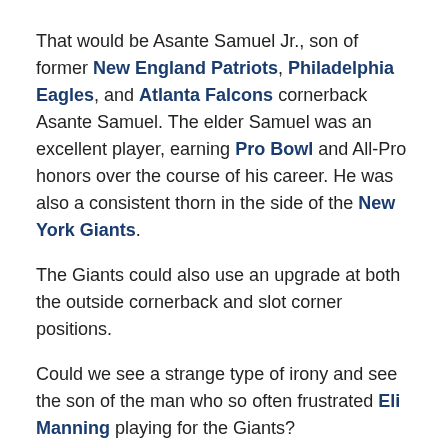That would be Asante Samuel Jr., son of former New England Patriots, Philadelphia Eagles, and Atlanta Falcons cornerback Asante Samuel. The elder Samuel was an excellent player, earning Pro Bowl and All-Pro honors over the course of his career. He was also a consistent thorn in the side of the New York Giants.
The Giants could also use an upgrade at both the outside cornerback and slot corner positions.
Could we see a strange type of irony and see the son of the man who so often frustrated Eli Manning playing for the Giants?
Prospect: Asante Samuel Jr.
Current Watch-lass: Boise State (2019)